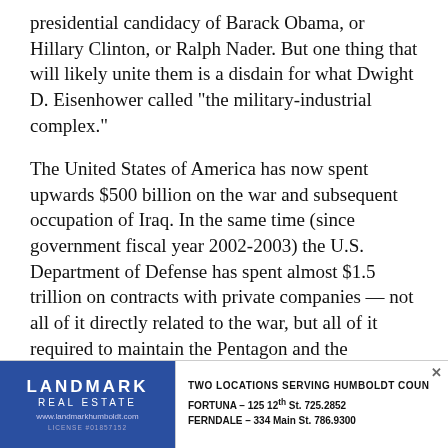presidential candidacy of Barack Obama, or Hillary Clinton, or Ralph Nader. But one thing that will likely unite them is a disdain for what Dwight D. Eisenhower called "the military-industrial complex."
The United States of America has now spent upwards $500 billion on the war and subsequent occupation of Iraq. In the same time (since government fiscal year 2002-2003) the U.S. Department of Defense has spent almost $1.5 trillion on contracts with private companies — not all of it directly related to the war, but all of it required to maintain the Pentagon and the branches of the service in one way or another. That figure — $1.5 trillion — is taken from USAspending.gov, the government's online data clearinghouse on federal spending. The site
[Figure (infographic): Landmark Real Estate advertisement banner. Blue left panel with 'LANDMARK REAL ESTATE' text and website www.landmarkhumboldt.com and license #01857152. Right panel reads 'TWO LOCATIONS SERVING HUMBOLDT COUN' with Fortuna - 125 12th St. 725.2852 and Ferndale - 334 Main St. 786.9300]